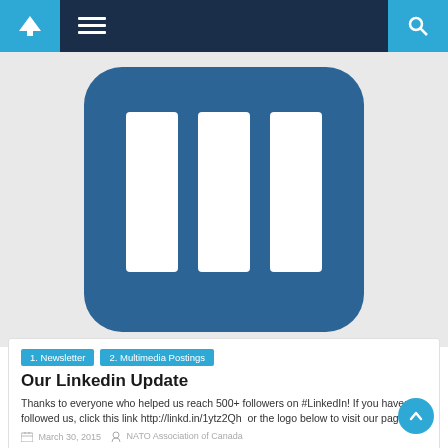Navigation bar with home, menu, and search icons
[Figure (logo): LinkedIn logo — large blue rounded rectangle with three white vertical bar icons (the 'in' LinkedIn icon variant), shown on a light grey background]
1. Newsletter
2. Multimedia Postings
Our Linkedin Update
Thanks to everyone who helped us reach 500+ followers on #LinkedIn! If you haven't followed us, click this link http://linkd.in/1ytz2Qh  or the logo below to visit our page!
March 30, 2015   NATO Association of Canada